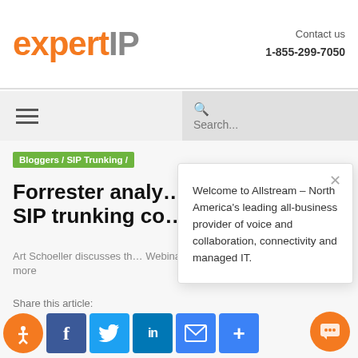[Figure (logo): expertIP logo with 'expert' in orange and 'IP' in grey]
Contact us
1-855-299-7050
[Figure (other): Hamburger menu icon (three horizontal bars)]
[Figure (other): Search box with magnifying glass icon and 'Search...' placeholder]
Bloggers / SIP Trunking /
Forrester analy… SIP trunking co…
Art Schoeller discusses th… Webinar and addresses c… security and more
Welcome to Allstream – North America's leading all-business provider of voice and collaboration, connectivity and managed IT.
Share this article:
[Figure (other): Social sharing icons: accessibility, Facebook, Twitter, LinkedIn, Email, Plus]